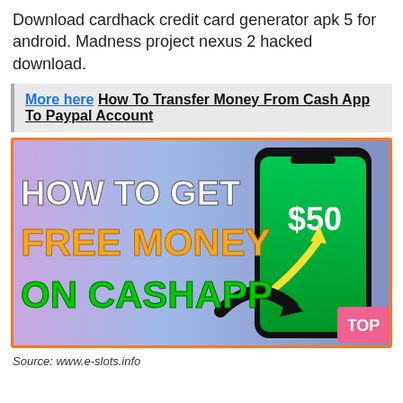Download cardhack credit card generator apk 5 for android. Madness project nexus 2 hacked download.
More here How To Transfer Money From Cash App To Paypal Account
[Figure (illustration): Promotional image showing a smartphone with Cash App displaying $50 on screen, with text: HOW TO GET FREE MONEY ON CASHAPP in bold stylized letters. A yellow arrow points upward. Orange border. Pink TOP button in bottom right.]
Source: www.e-slots.info